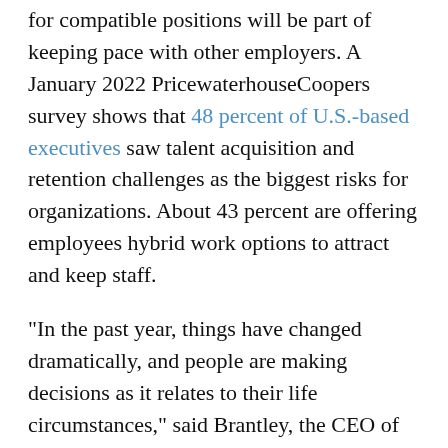for compatible positions will be part of keeping pace with other employers. A January 2022 PricewaterhouseCoopers survey shows that 48 percent of U.S.-based executives saw talent acquisition and retention challenges as the biggest risks for organizations. About 43 percent are offering employees hybrid work options to attract and keep staff.
"In the past year, things have changed dramatically, and people are making decisions as it relates to their life circumstances," said Brantley, the CEO of CUPA-HR.
The opportunity to work remotely is what drew Rhea, a Florida native, to Duke after her former employer required a return to the office.